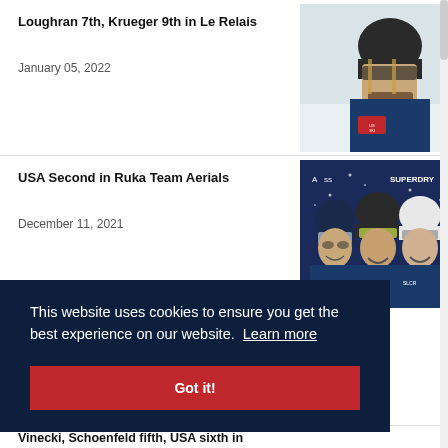Loughran 7th, Krueger 9th in Le Relais
January 05, 2022
[Figure (photo): Skier wearing helmet and US Ski Team uniform in snowy conditions]
USA Second in Ruka Team Aerials
December 11, 2021
[Figure (photo): Three athletes smiling with helmets, SUPERDRY branding in background]
This website uses cookies to ensure you get the best experience on our website. Learn more
Got it!
Vinecki, Schoenfeld fifth, USA sixth in